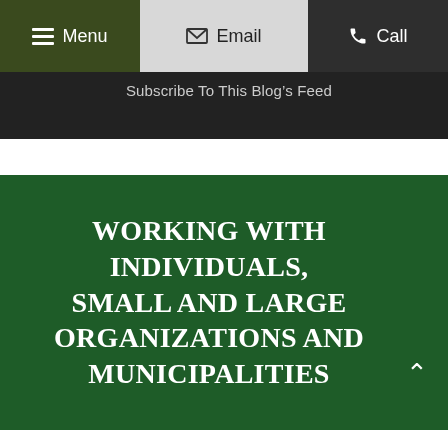Menu | Email | Call
Subscribe To This Blog's Feed
WORKING WITH INDIVIDUALS, SMALL AND LARGE ORGANIZATIONS AND MUNICIPALITIES